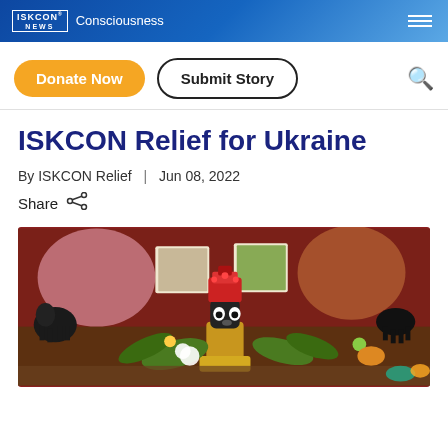ISKCON NEWS | Consciousness
Donate Now  |  Submit Story
ISKCON Relief for Ukraine
By ISKCON Relief  |  Jun 08, 2022
Share
[Figure (photo): A decorative Hindu deity figurine (likely Lord Jagannath) adorned with red ornaments and a crown, surrounded by flowers, small animal figurines, and colorful devotional items on a table.]